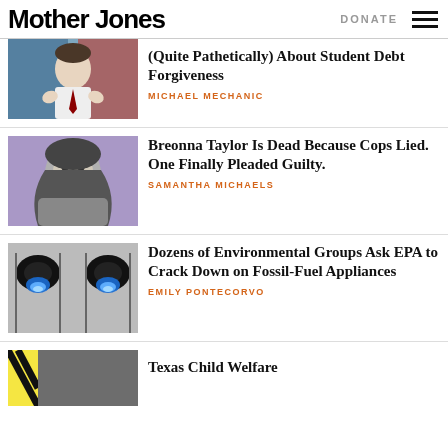Mother Jones — DONATE
[Figure (photo): Partial article: man gesturing at event, article title about Student Debt Forgiveness]
(Quite Pathetically) About Student Debt Forgiveness
MICHAEL MECHANIC
[Figure (photo): Illustrated portrait of Breonna Taylor]
Breonna Taylor Is Dead Because Cops Lied. One Finally Pleaded Guilty.
SAMANTHA MICHAELS
[Figure (photo): Close-up of gas stove burners with blue flames]
Dozens of Environmental Groups Ask EPA to Crack Down on Fossil-Fuel Appliances
EMILY PONTECORVO
[Figure (photo): Partial image for Texas Child Welfare article]
Texas Child Welfare